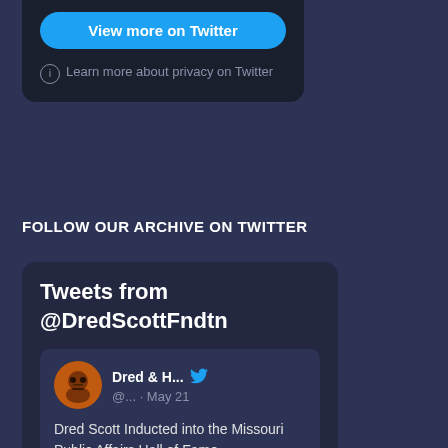[Figure (screenshot): Twitter embedded widget showing 'View more on Twitter' button and privacy notice on dark background card]
FOLLOW OUR ARCHIVE ON TWITTER
[Figure (screenshot): Embedded Twitter timeline widget showing 'Tweets from @DredScottFndtn' with a tweet from Dred & H... (@...) on May 21 reading 'Dred Scott Inducted into the Missouri Public Affairs Hall of Fame dredscottlives.org/2022/04/']